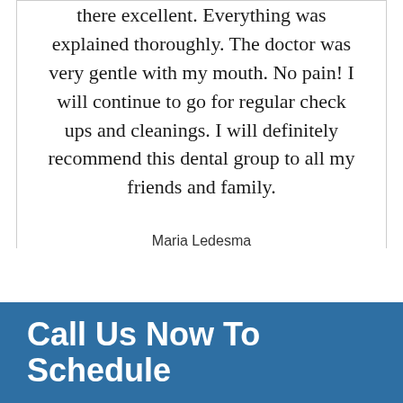there excellent. Everything was explained thoroughly. The doctor was very gentle with my mouth. No pain! I will continue to go for regular check ups and cleanings. I will definitely recommend this dental group to all my friends and family.
Maria Ledesma
Call Us Now To Schedule